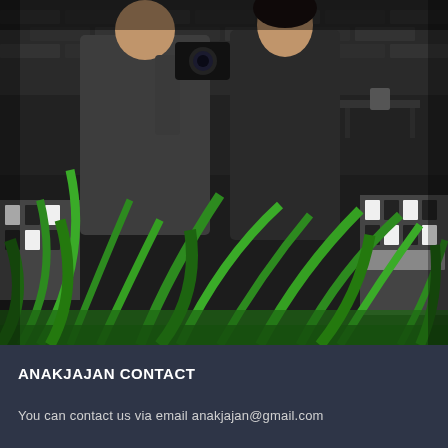[Figure (photo): Two people dressed in black standing in an indoor restaurant or cafe setting. One person is holding a camera up to their face. In the foreground are green plant leaves/grass. The background shows chairs with black-and-white patterned upholstery and dark brick walls.]
ANAKJAJAN CONTACT
You can contact us via email anakjajan@gmail.com